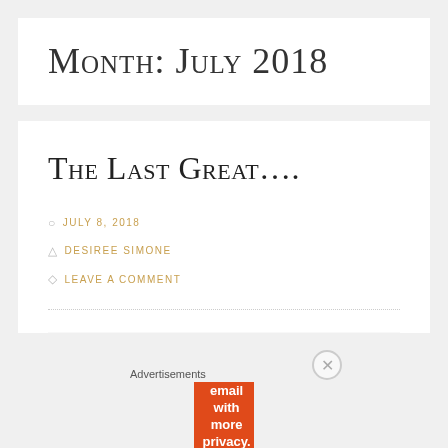Month: July 2018
The Last Great....
JULY 8, 2018
DESIREE SIMONE
LEAVE A COMMENT
Advertisements
[Figure (other): DuckDuckGo advertisement banner: Search, browse, and email with more privacy. All in One Free App.]